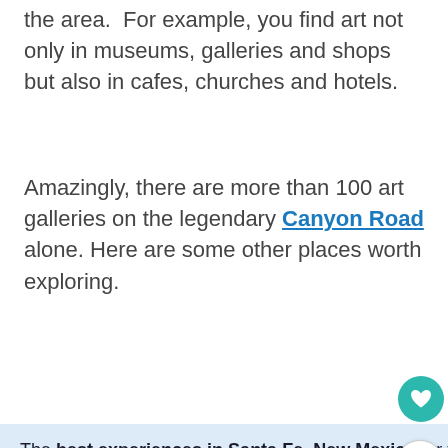the area.  For example, you find art not only in museums, galleries and shops but also in cafes, churches and hotels.
Amazingly, there are more than 100 art galleries on the legendary Canyon Road alone. Here are some other places worth exploring.
The best experiences in Santa Fe, New Mexico for your trip
[Figure (photo): Photo of Santa Fe adobe-style architecture building with turquoise window frames and traditional southwestern style]
Santa Fe: Architectural Tour & Wine Tasting
WHAT'S NEXT → A Weekend in Santa Fe, Ne...